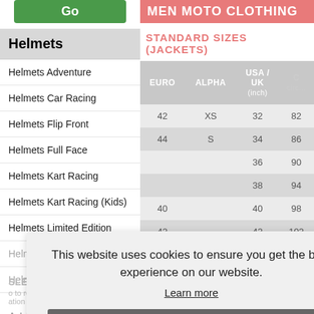Go
Helmets
Helmets Adventure
Helmets Car Racing
Helmets Flip Front
Helmets Full Face
Helmets Kart Racing
Helmets Kart Racing (Kids)
Helmets Limited Edition
Helmets Open Face
Helmets Woman & Kids
MEN MOTO CLOTHING
STANDARD SIZES (JACKETS)
| EURO | ALPHA | USA / UK (inch) | C (circ...) |
| --- | --- | --- | --- |
| 42 | XS | 32 | 82 |
| 44 | S | 34 | 86 |
|  |  | 36 | 90 |
|  |  | 38 | 94 |
| 40 |  | 40 | 98 |
| 42 |  | 42 | 102 |
This website uses cookies to ensure you get the best experience on our website. Learn more
Accept
NEWSLETTER SIGN UP
to receive news and promotional
Address
join now